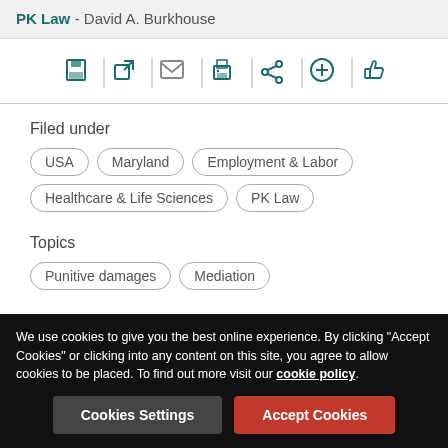PK Law - David A. Burkhouse
[Figure (other): Toolbar with icons: save, open/external link, email, print, share, add, thumbs up]
Filed under
USA
Maryland
Employment & Labor
Healthcare & Life Sciences
PK Law
Topics
Punitive damages
Mediation
Laws
We use cookies to give you the best online experience. By clicking "Accept Cookies" or clicking into any content on this site, you agree to allow cookies to be placed. To find out more visit our cookie policy.